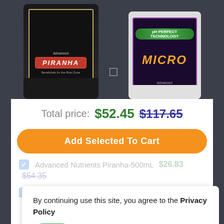[Figure (photo): Product image: Advanced Nutrients Piranha 500mL bottle (black container with decorative label) and Advanced Nutrients pH Perfect Micro 4L bottle (white container with colorful label showing 'MICRO' text). A small checkbox icon visible between them.]
Total price: $52.45 $117.65
Add Selected To Cart
Advanced Nutrients Piranha-500mL $26.83 $54.35
Advanced Nutrients pH Perfect Micro-4L $25.62 $63.30
By continuing use this site, you agree to the Privacy Policy
Ok